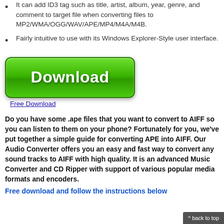It can add ID3 tag such as title, artist, album, year, genre, and comment to target file when converting files to MP2/WMA/OGG/WAV/APE/MP4/M4A/M4B.
Fairly intuitive to use with its Windows Explorer-Style user interface.
[Figure (other): Green Download button]
Free Download
Do you have some .ape files that you want to convert to AIFF so you can listen to them on your phone? Fortunately for you, we've put together a simple guide for converting APE into AIFF. Our Audio Converter offers you an easy and fast way to convert any sound tracks to AIFF with high quality. It is an advanced Music Converter and CD Ripper with support of various popular media formats and encoders.
Free download and follow the instructions below